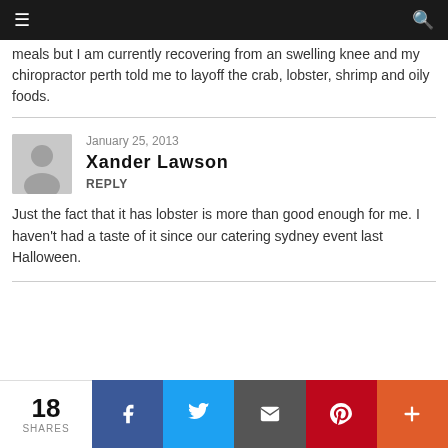Navigation bar with menu and search icons
meals but I am currently recovering from an swelling knee and my chiropractor perth told me to layoff the crab, lobster, shrimp and oily foods.
January 25, 2013
Xander Lawson
Reply
Just the fact that it has lobster is more than good enough for me. I haven't had a taste of it since our catering sydney event last Halloween.
18 SHARES | Facebook | Twitter | Email | Pinterest | More